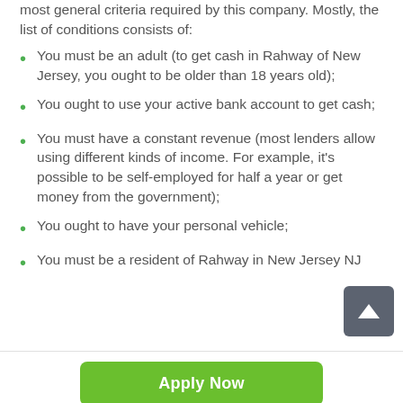most general criteria required by this company. Mostly, the list of conditions consists of:
You must be an adult (to get cash in Rahway of New Jersey, you ought to be older than 18 years old);
You ought to use your active bank account to get cash;
You must have a constant revenue (most lenders allow using different kinds of income. For example, it's possible to be self-employed for half a year or get money from the government);
You ought to have your personal vehicle;
You must be a resident of Rahway in New Jersey NJ
Apply Now
Applying does NOT affect your credit score!
No credit check to apply.